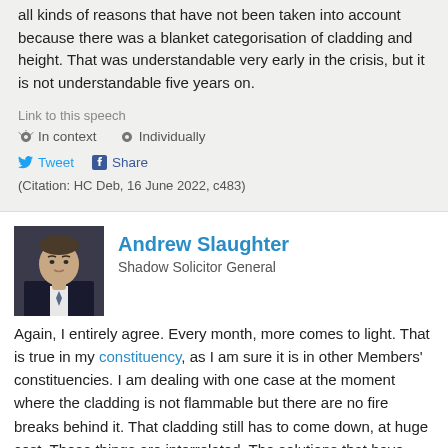all kinds of reasons that have not been taken into account because there was a blanket categorisation of cladding and height. That was understandable very early in the crisis, but it is not understandable five years on.
Link to this speech
In context   Individually
Tweet   Share
(Citation: HC Deb, 16 June 2022, c483)
Andrew Slaughter
Shadow Solicitor General
[Figure (photo): Headshot photo of Andrew Slaughter in a dark suit]
Again, I entirely agree. Every month, more comes to light. That is true in my constituency, as I am sure it is in other Members' constituencies. I am dealing with one case at the moment where the cladding is not flammable but there are no fire breaks behind it. That cladding still has to come down, at huge cost. These things are interrelated. The solutions that have been suggested are really inadequate. We are an outlier—in a bad way—in terms of international practice, because the standards that we were enforcing and those that we are now enforcing are not of the best.